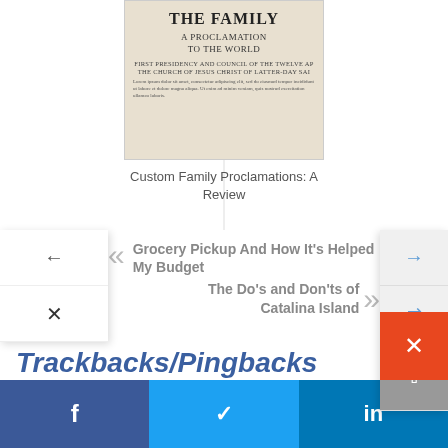[Figure (photo): Book cover of 'The Family: A Proclamation to the World' by the First Presidency and Council of the Twelve Apostles of The Church of Jesus Christ of Latter-day Saints]
Custom Family Proclamations: A Review
Grocery Pickup And How It's Helped My Budget
The Do's and Don'ts of Catalina Island
Trackbacks/Pingbacks